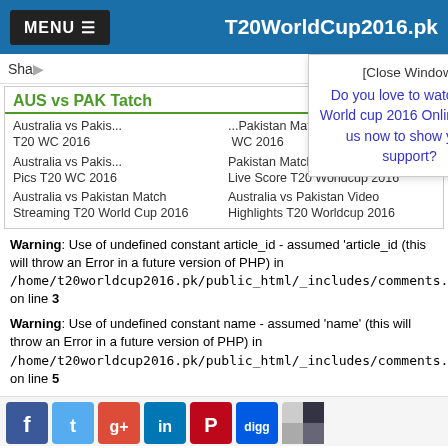MENU ≡   T20WorldCup2016.pk
Sha...   [Close Window] Do you love to watch T20 World cup 2016 Online? Like us now to show your support?   Share (LinkedIn)
AUS vs PAK T...atch
Australia vs Pakis... Pakistan Match T20 WC 2016
Australia vs Pakis... Pakistan Match Pics T20 WC 2016   Live Score T20 Worldcup 2016
Australia vs Pakistan Match Streaming T20 World Cup 2016   Australia vs Pakistan Video Highlights T20 Worldcup 2016
Warning: Use of undefined constant article_id - assumed 'article_id (this will throw an Error in a future version of PHP) in /home/t20worldcup2016.pk/public_html/_includes/comments.ph on line 3
Warning: Use of undefined constant name - assumed 'name' (this will throw an Error in a future version of PHP) in /home/t20worldcup2016.pk/public_html/_includes/comments.ph on line 5
[Figure (screenshot): Social sharing icons: Facebook, Twitter, Google+, LinkedIn, Pinterest, Digg, ShareThis. Count: 0]